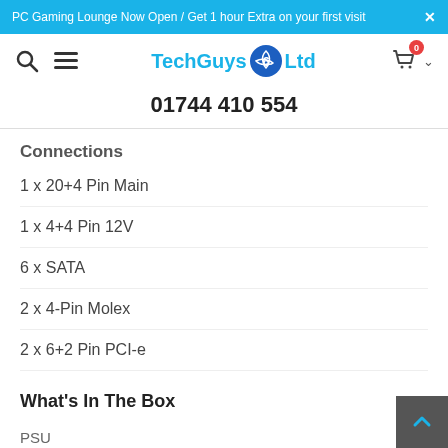PC Gaming Lounge Now Open / Get 1 hour Extra on your first visit ✕
[Figure (logo): Tech Guys Ltd logo with shopping cart icon showing 0 items, search and menu icons]
01744 410 554
Connections
1 x 20+4 Pin Main
1 x 4+4 Pin 12V
6 x SATA
2 x 4-Pin Molex
2 x 6+2 Pin PCI-e
What's In The Box
PSU
Screws